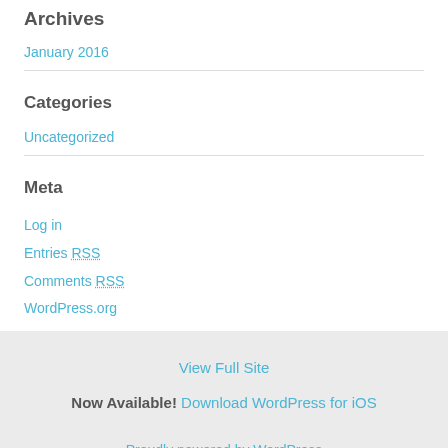Archives
January 2016
Categories
Uncategorized
Meta
Log in
Entries RSS
Comments RSS
WordPress.org
View Full Site
Now Available! Download WordPress for iOS
Proudly powered by WordPress